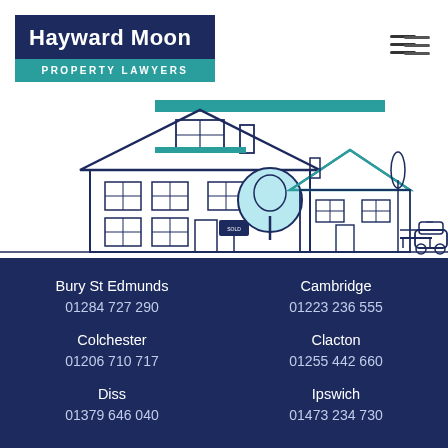[Figure (logo): Hayward Moon Property Lawyers logo — dark navy rectangle with white bold text 'Hayward Moon' above teal rectangle with 'PROPERTY LAWYERS']
[Figure (illustration): Line art illustration of residential street scene with houses, trees, a sold sign, and a car in navy and teal colors]
Bury St Edmunds
01284 727 290
Colchester
01206 710 717
Diss
01379 646 040
Cambridge
01223 236 555
Clacton
01255 442 660
Ipswich
01473 234 730